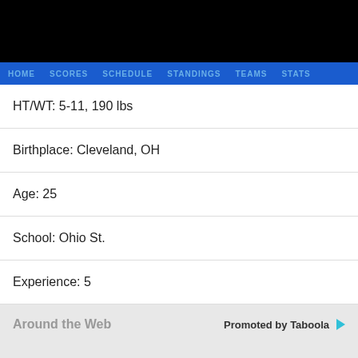HOME  SCORES  SCHEDULE  STANDINGS  TEAMS  STATS
HT/WT: 5-11, 190 lbs
Birthplace: Cleveland, OH
Age: 25
School: Ohio St.
Experience: 5
Around the Web   Promoted by Taboola
©CBS SPORTS DIGITAL